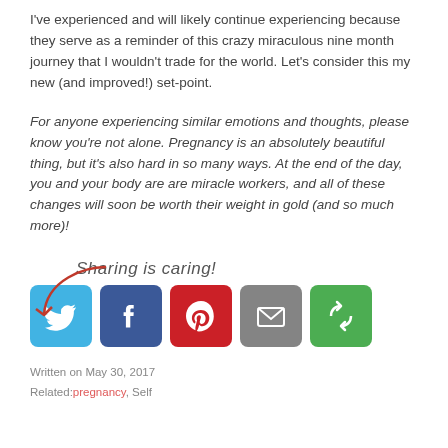I've experienced and will likely continue experiencing because they serve as a reminder of this crazy miraculous nine month journey that I wouldn't trade for the world.  Let's consider this my new (and improved!) set-point.
For anyone experiencing similar emotions and thoughts, please know you're not alone.  Pregnancy is an absolutely beautiful thing, but it's also hard in so many ways.  At the end of the day, you and your body are are miracle workers, and all of these changes will soon be worth their weight in gold (and so much more)!
[Figure (infographic): Sharing is caring! text with a curly arrow pointing to social media icon buttons: Twitter (blue), Facebook (dark blue), Pinterest (red), Email (gray), and a green share button.]
Written on May 30, 2017
Related: pregnancy, Self